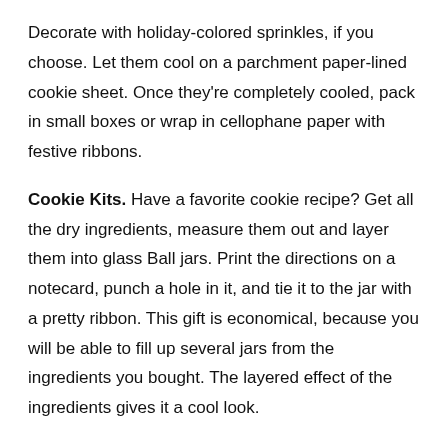Decorate with holiday-colored sprinkles, if you choose. Let them cool on a parchment paper-lined cookie sheet. Once they're completely cooled, pack in small boxes or wrap in cellophane paper with festive ribbons.
Cookie Kits. Have a favorite cookie recipe? Get all the dry ingredients, measure them out and layer them into glass Ball jars. Print the directions on a notecard, punch a hole in it, and tie it to the jar with a pretty ribbon. This gift is economical, because you will be able to fill up several jars from the ingredients you bought. The layered effect of the ingredients gives it a cool look.
Digital Slideshows. If you have a digital camera, you have tons of photos on your hard drive. Compile a short slideshow with meaningful (or funny!) quotes for a friend.